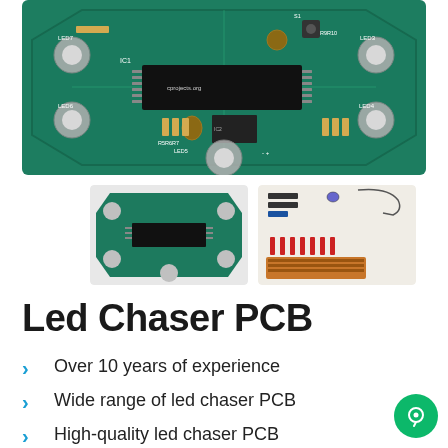[Figure (photo): Close-up photo of a green LED chaser PCB with IC chip, resistors, LEDs at edges, and component labels including IC1, IC2, LED1-LED8, R5R6R7, R9R10, S1]
[Figure (photo): Small thumbnail of LED chaser PCB showing top view of assembled board]
[Figure (photo): Thumbnail showing LED chaser PCB kit components including resistors, LEDs, capacitors, and orange PCB board]
Led Chaser PCB
Over 10 years of experience
Wide range of led chaser PCB
High-quality led chaser PCB
Equipped with skillful engineers